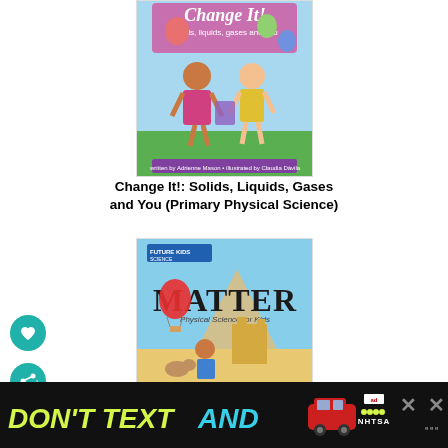[Figure (illustration): Book cover of 'Change It!: Solids, Liquids, Gases and You (Primary Physical Science)' showing two children with balloons, written by Adrienne Mason, illustrated by Claudia Dávila]
Change It!: Solids, Liquids, Gases and You (Primary Physical Science)
[Figure (illustration): Book cover of 'Matter: Physical Science for Kids' (Future Kids Science series) showing children playing at a beach with a sandcastle, a hot air balloon, mountains in the background]
[Figure (screenshot): Advertisement banner: 'DON'T TEXT AND [car emoji]' with NHTSA logo, ad badge, and close buttons]